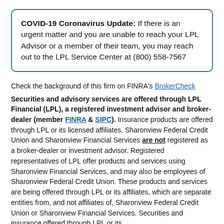COVID-19 Coronavirus Update: If there is an urgent matter and you are unable to reach your LPL Advisor or a member of their team, you may reach out to the LPL Service Center at (800) 558-7567
Check the background of this firm on FINRA's BrokerCheck
Securities and advisory services are offered through LPL Financial (LPL), a registered investment advisor and broker-dealer (member FINRA & SIPC). Insurance products are offered through LPL or its licensed affiliates. Sharonview Federal Credit Union and Sharonview Financial Services are not registered as a broker-dealer or investment advisor. Registered representatives of LPL offer products and services using Sharonview Financial Services, and may also be employees of Sharonview Federal Credit Union. These products and services are being offered through LPL or its affiliates, which are separate entities from, and not affiliates of, Sharonview Federal Credit Union or Sharonview Financial Services. Securities and insurance offered through LPL or its